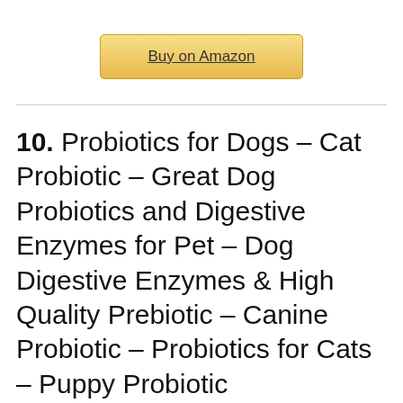[Figure (other): Buy on Amazon button with golden gradient background]
10. Probiotics for Dogs – Cat Probiotic – Great Dog Probiotics and Digestive Enzymes for Pet – Dog Digestive Enzymes & High Quality Prebiotic – Canine Probiotic – Probiotics for Cats – Puppy Probiotic